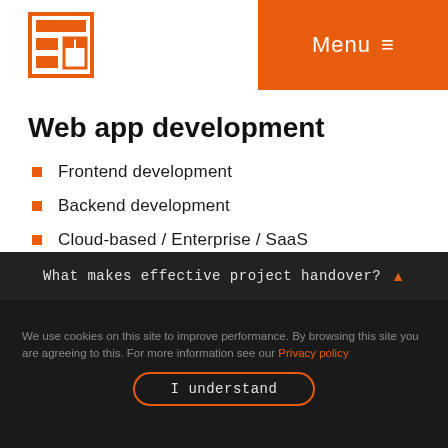[Figure (logo): Orange pixel-art style browser/dashboard icon logo]
Menu ≡
Web app development
Frontend development
Backend development
Cloud-based / Enterprise / SaaS
Progressive Web Apps (PWA)
AI / IoT / Big data / Machine Learning
Continuous Delivery & Integration
What makes effective project handover? ▲
We use cookies on this site to improve performance. By browsing this site you are agreeing to this. For more information see our Privacy policy
I understand